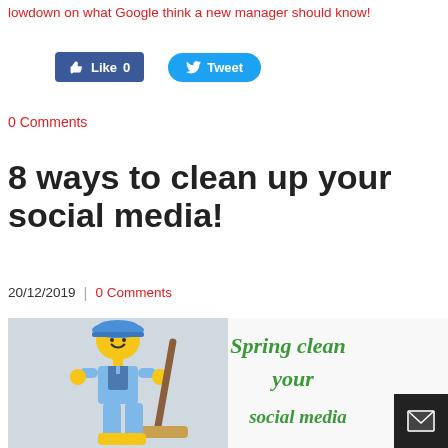lowdown on what Google think a new manager should know!
[Figure (other): Facebook Like button (0) and Twitter Tweet button]
0 Comments
8 ways to clean up your social media!
20/12/2019 | 0 Comments
[Figure (photo): A LEGO figure dressed as a cleaner holding a broom, next to green cursive text reading 'Spring clean your social media']